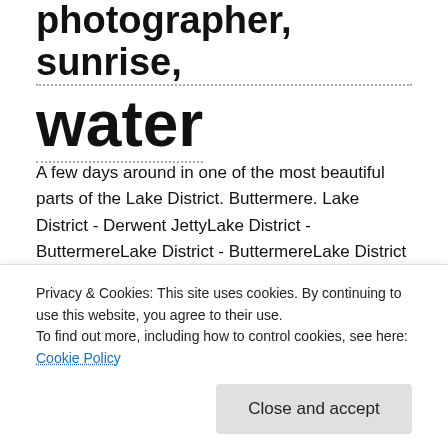photographer, sunrise, water
A few days around in one of the most beautiful parts of the Lake District. Buttermere. Lake District - Derwent JettyLake District - ButtermereLake District - ButtermereLake District - Honister PassLake District - ButtermereLake District - ButtermereLake District - Buttermere Lone TreeLake District - Buttermere
Privacy & Cookies: This site uses cookies. By continuing to use this website, you agree to their use.
To find out more, including how to control cookies, see here: Cookie Policy
Close and accept